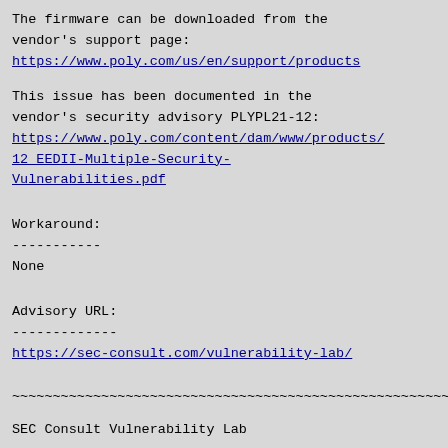The firmware can be downloaded from the vendor's support page:
https://www.poly.com/us/en/support/products
This issue has been documented in the vendor's security advisory PLYPL21-12:
https://www.poly.com/content/dam/www/products/12 EEDII-Multiple-Security-Vulnerabilities.pdf
Workaround:
-----------
None
Advisory URL:
-------------
https://sec-consult.com/vulnerability-lab/
~~~~~~~~~~~~~~~~~~~~~~~~~~~~~~~~~~~~~~~~~~~~~~~~~~~~~~~~~~~
SEC Consult Vulnerability Lab